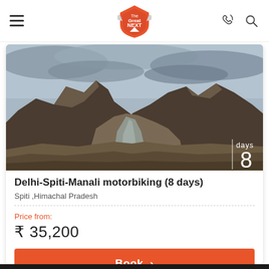The Great NEXT — navigation bar with hamburger menu, logo, phone and search icons
[Figure (photo): Mountain valley landscape with river running through arid rocky terrain under cloudy sky. Spiti valley, Himachal Pradesh. Overlay shows '8 days' in white text bottom right.]
Delhi-Spiti-Manali motorbiking (8 days)
Spiti ,Himachal Pradesh
Price from:
₹ 35,200
Book  >